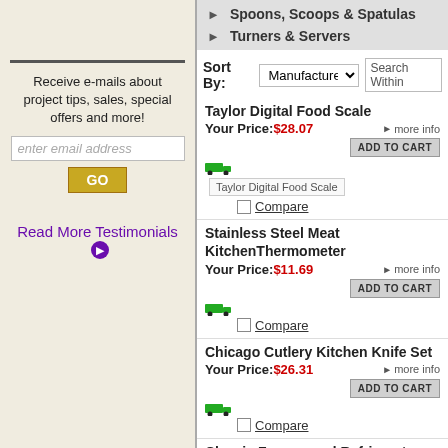Receive e-mails about project tips, sales, special offers and more!
enter email address
Shakers & Grinders
Spoons, Scoops & Spatulas
Turners & Servers
Sort By: Manufacturer | Search Within
Taylor Digital Food Scale
Your Price: $28.07
Stainless Steel Meat KitchenThermometer
Your Price: $11.69
Chicago Cutlery Kitchen Knife Set
Your Price: $26.31
Classic Freezer and Refrigerator Kitchen Thermometer
Your Price: $5.25
Read More Testimonials